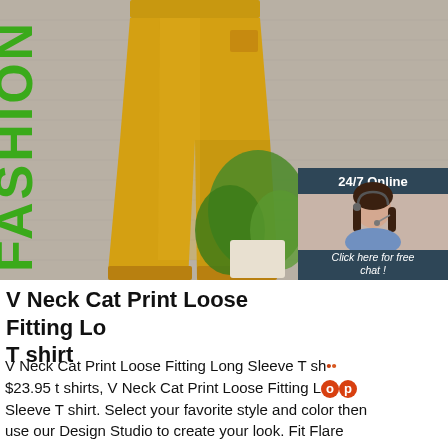[Figure (photo): Product photo showing mustard/golden yellow tapered trousers on a model, with a green plant in the background and a grey textured wall. A vertical 'FASHION' text in green is visible on the left side. A live chat widget box is overlaid on the right side showing '24/7 Online', a customer service representative, 'Click here for free chat!', and a 'QUOTATION' button.]
V Neck Cat Print Loose Fitting Lo T shirt
V Neck Cat Print Loose Fitting Long Sleeve T shirt $23.95 t shirts, V Neck Cat Print Loose Fitting Long Sleeve T shirt. Select your favorite style and color then use our Design Studio to create your look. Fit Flare